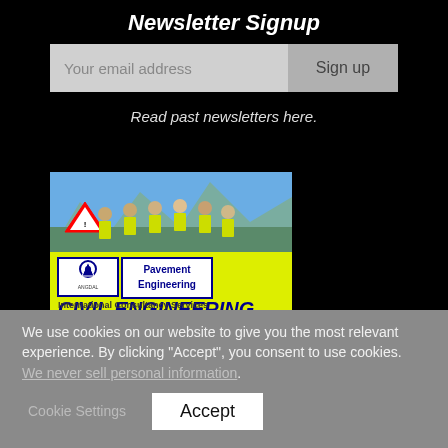Newsletter Signup
Your email address
Sign up
Read past newsletters here.
[Figure (photo): Advertisement image for ANGDAL Pavement Engineering Civil Engineering International Consultancy Services, showing workers in high-visibility vests outdoors with mountains in background]
We use cookies on our website to give you the most relevant experience. By clicking “Accept”, you consent to use cookies. We never sell personal information.
Cookie Settings
Accept